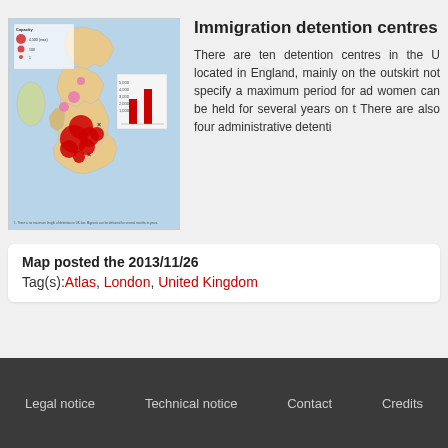[Figure (map): Map of immigration detention centres in the United Kingdom, showing locations with red and pink circles of varying sizes across England, Scotland, and Wales, with a bar chart inset and legend.]
Immigration detention centres in...
There are ten detention centres in the U... located in England, mainly on the outskirt... not specify a maximum period for ad... women can be held for several years on t... There are also four administrative detenti...
Map posted the 2013/11/26
Tag(s): Atlas, London, United Kingdom
Legal notice   Technical notice   Contact   Credits